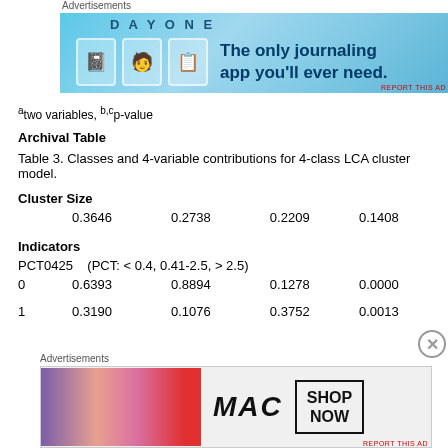Advertisements
[Figure (illustration): Day One journaling app advertisement banner with blue background, icons, and text 'The only journaling app you'll ever need.']
a two variables, b,c p-value
Archival Table
Table 3.  Classes and 4-variable contributions for 4-class LCA cluster model.
|  | Col1 | Col2 | Col3 | Col4 |
| --- | --- | --- | --- | --- |
| Cluster Size |  |  |  |  |
|  | 0.3646 | 0.2738 | 0.2209 | 0.1408 |
| Indicators |  |  |  |  |
| PCT0425 | (PCT: < 0.4, 0.41-2.5, > 2.5) |  |  |  |
| 0 | 0.6393 | 0.8894 | 0.1278 | 0.0000 |
| 1 | 0.3190 | 0.1076 | 0.3752 | 0.0013 |
Advertisements
[Figure (illustration): MAC cosmetics advertisement banner with lipsticks and 'SHOP NOW' box.]